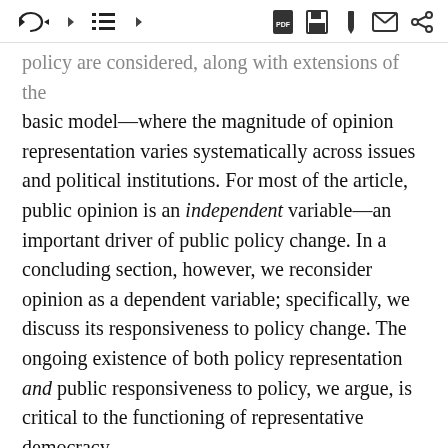[toolbar UI controls]
policy are considered, along with extensions of the basic model—where the magnitude of opinion representation varies systematically across issues and political institutions. For most of the article, public opinion is an independent variable—an important driver of public policy change. In a concluding section, however, we reconsider opinion as a dependent variable; specifically, we discuss its responsiveness to policy change. The ongoing existence of both policy representation and public responsiveness to policy, we argue, is critical to the functioning of representative democracy.
Opinion Representation in Theory and Practice